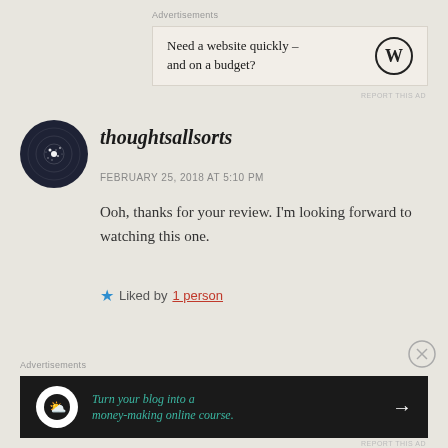Advertisements
[Figure (screenshot): Advertisement banner: 'Need a website quickly – and on a budget?' with WordPress logo]
REPORT THIS AD
thoughtsallsorts
FEBRUARY 25, 2018 AT 5:10 PM
Ooh, thanks for your review. I'm looking forward to watching this one.
Liked by 1 person
Advertisements
[Figure (screenshot): Dark advertisement banner: 'Turn your blog into a money-making online course.' with arrow and Teachable logo]